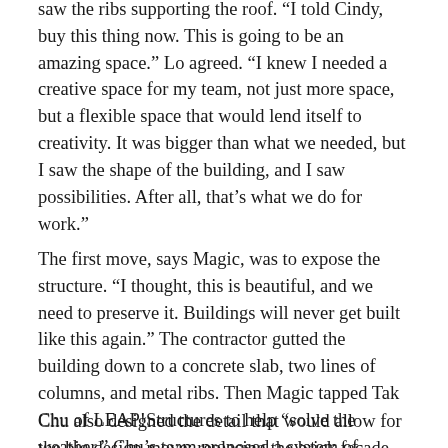saw the ribs supporting the roof. “I told Cindy, buy this thing now. This is going to be an amazing space.” Lo agreed. “I knew I needed a creative space for my team, not just more space, but a flexible space that would lend itself to creativity. It was bigger than what we needed, but I saw the shape of the building, and I saw possibilities. After all, that’s what we do for work.”
The first move, says Magic, was to expose the structure. “I thought, this is beautiful, and we need to preserve it. Buildings will never get built like this again.” The contractor gutted the building down to a concrete slab, two lines of columns, and metal ribs. Then Magic tapped Tak Chu of LEAP!Structures to help “solve the weather.” Chu’s team proposed a system of corrugated metal decking that would stiffen the building, allow for the addition of insulation and skylights, and satisfy warranty requirements.
Chu also designed the detail that would allow for the big design move: replacing the brick facade with floor-to-